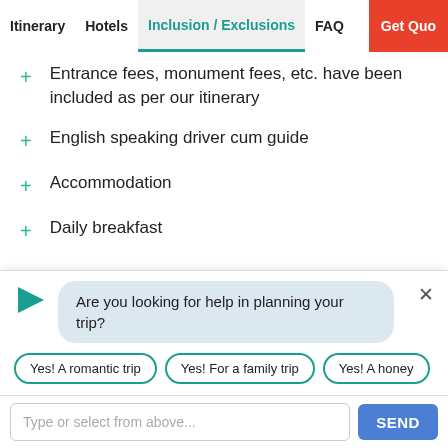Itinerary | Hotels | Inclusion / Exclusions | FAQ | Get Quo...
Entrance fees, monument fees, etc. have been included as per our itinerary
English speaking driver cum guide
Accommodation
Daily breakfast
All transfers and sightseeing
All Immigration Formalities
Are you looking for help in planning your trip?
Yes! A romantic trip
Yes! For a family trip
Yes! A honey...
Type or select from above...
SEND